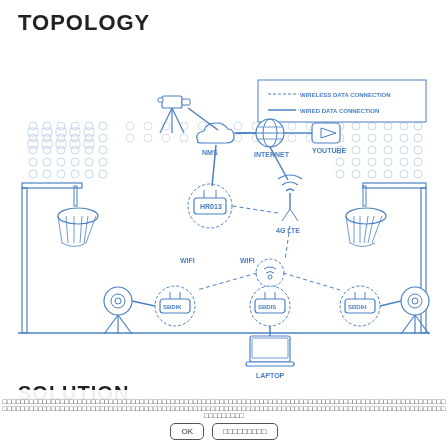TOPOLOGY
[Figure (network-graph): Network topology diagram of a basketball arena showing cameras, routers, 4G LTE tower, cloud, internet, YouTube, WiFi access points, and laptop connected via wired and wireless connections. Legend shows dashed line for wireless data connection and solid line for wired data connection.]
SOLUTION
□□□□□□□□□□□□□□□□□□□□□□□□□□□□□□□□□□□□□□□□□□□□□□□□□□□□□□□□□□□□□□□□□□□□□□□□□□□□□□□□□□□□□□□□□□□□□□□□□□□□□□□□□□□□□□□□□□□□□□□□□□□□□□□□□□□□□□□□□□□□□□□□□□□□□□□□□□□□□□□□□□□□□□□□□□□□□□□□□□□□□□□□□□□□□□□□□□□□□□□□□□□□□□□□□□□□□□□□□□□□